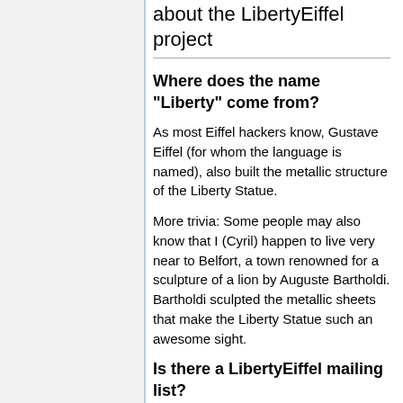about the LibertyEiffel project
Where does the name "Liberty" come from?
As most Eiffel hackers know, Gustave Eiffel (for whom the language is named), also built the metallic structure of the Liberty Statue.
More trivia: Some people may also know that I (Cyril) happen to live very near to Belfort, a town renowned for a sculpture of a lion by Auguste Bartholdi. Bartholdi sculpted the metallic sheets that make the Liberty Statue such an awesome sight.
Is there a LibertyEiffel mailing list?